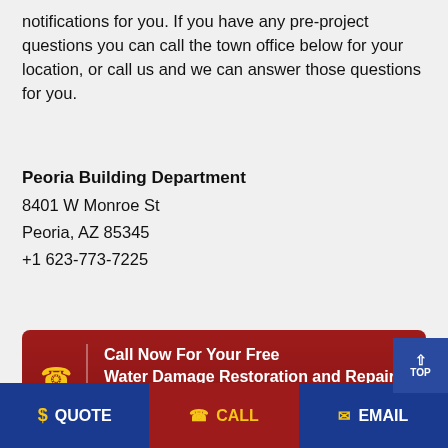notifications for you. If you have any pre-project questions you can call the town office below for your location, or call us and we can answer those questions for you.
Peoria Building Department
8401 W Monroe St
Peoria, AZ 85345
+1 623-773-7225
[Figure (infographic): Red call-to-action banner with phone icon, divider line, and bold white text reading 'Call Now For Your Free Water Damage Restoration and Repair Consultation']
Rooftop AC Leaks damage repair and understanding hazardous materials and how they may affect the restoration and cleanup process of your Peoria a
$ QUOTE  |  CALL  |  EMAIL  |  TOP